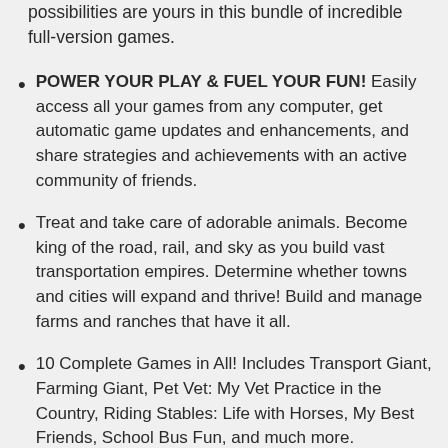possibilities are yours in this bundle of incredible full-version games.
POWER YOUR PLAY & FUEL YOUR FUN! Easily access all your games from any computer, get automatic game updates and enhancements, and share strategies and achievements with an active community of friends.
Treat and take care of adorable animals. Become king of the road, rail, and sky as you build vast transportation empires. Determine whether towns and cities will expand and thrive! Build and manage farms and ranches that have it all.
10 Complete Games in All! Includes Transport Giant, Farming Giant, Pet Vet: My Vet Practice in the Country, Riding Stables: Life with Horses, My Best Friends, School Bus Fun, and much more.